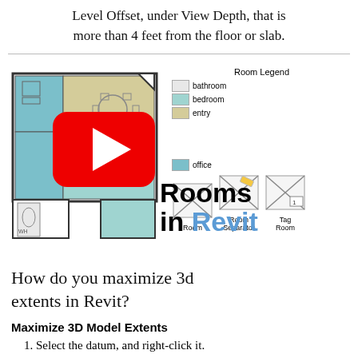Level Offset, under View Depth, that is more than 4 feet from the floor or slab.
[Figure (screenshot): A screenshot showing a Revit floor plan with colored rooms (bathroom, bedroom, entry, office) overlaid with a YouTube play button, a Room Legend with color swatches, a Revit ribbon toolbar showing Room, Room Separator, and Tag Room tools, and large bold text reading 'Rooms in Revit' with 'Revit' in blue.]
How do you maximize 3d extents in Revit?
Maximize 3D Model Extents
1. Select the datum, and right-click it.